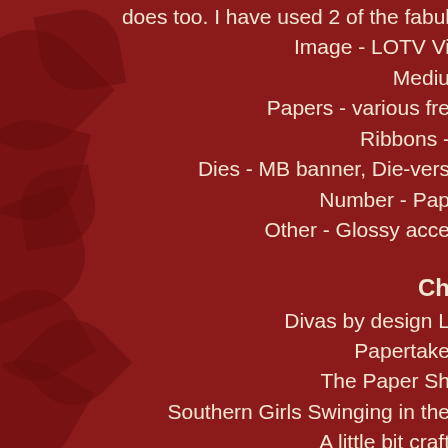does too. I have used 2 of the fabul... Image - LOTV Vi... Mediu... Papers - various fre... Ribbons - ... Dies - MB banner, Die-vers... Number - Pap... Other - Glossy acce...
Ch...
Divas by design L...
Papertake...
The Paper Sh...
Southern Girls Swinging in the...
A little bit craft...
Sweet Stampin' inspired by a s...